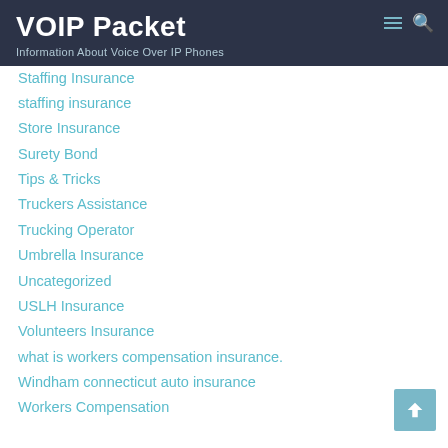VOIP Packet
Information About Voice Over IP Phones
Staffing Insurance
staffing insurance
Store Insurance
Surety Bond
Tips & Tricks
Truckers Assistance
Trucking Operator
Umbrella Insurance
Uncategorized
USLH Insurance
Volunteers Insurance
what is workers compensation insurance.
Windham connecticut auto insurance
Workers Compensation